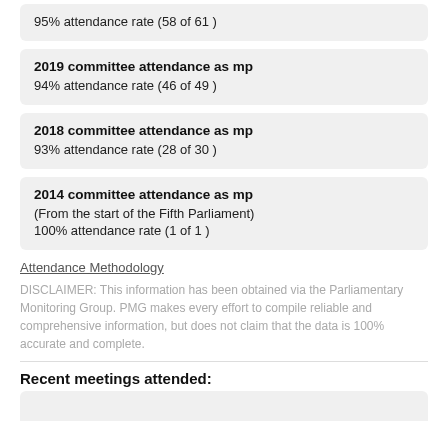95% attendance rate (58 of 61 )
2019 committee attendance as mp
94% attendance rate (46 of 49 )
2018 committee attendance as mp
93% attendance rate (28 of 30 )
2014 committee attendance as mp
(From the start of the Fifth Parliament)
100% attendance rate (1 of 1 )
Attendance Methodology
DISCLAIMER: This information has been obtained via the Parliamentary Monitoring Group. PMG makes every effort to compile reliable and comprehensive information, but does not claim that the data is 100% accurate and complete.
Recent meetings attended: